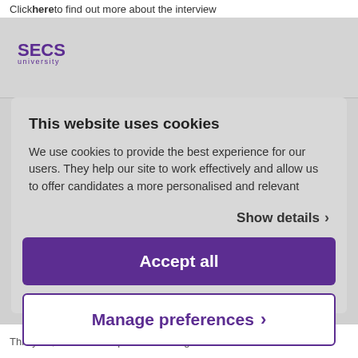Click here to find out more about the interview
[Figure (logo): SECS university logo in purple]
This website uses cookies
We use cookies to provide the best experience for our users. They help our site to work effectively and allow us to offer candidates a more personalised and relevant
Show details >
Accept all
Manage preferences >
Powered by Cookiebot by Usercentrics
This year, our fabulous prizes include gift cards